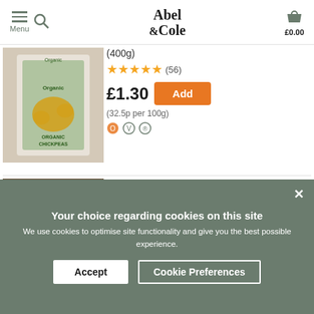Abel & Cole — Menu, Search, £0.00
(400g)
★★★★★ (56)
£1.30
(32.5p per 100g)
Carrots, Organic (1kg)
★★★★½ (170)
£2.15
(21.5p per 100g)
Your choice regarding cookies on this site
We use cookies to optimise site functionality and give you the best possible experience.
Accept
Cookie Preferences